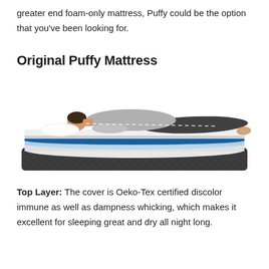greater end foam-only mattress, Puffy could be the option that you've been looking for.
Original Puffy Mattress
[Figure (illustration): Cross-section illustration of the Original Puffy Mattress showing a person lying on their side on top of the mattress. The mattress layers are visible from the side: a dark gray quilted cover on top, a blue gel foam layer, a lighter foam support layer, and a dark gray base. The person is wearing a gray shirt and dark pants with a white pillow under their head. A dashed white line traces the spine alignment.]
Top Layer: The cover is Oeko-Tex certified discolor immune as well as dampness whicking, which makes it excellent for sleeping great and dry all night long.